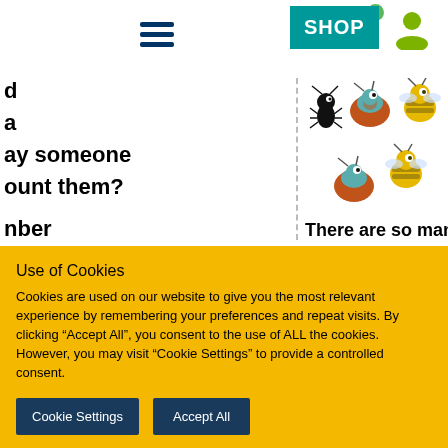[Figure (screenshot): Partially visible educational website showing navigation bar with hamburger menu, cart icon with badge '2', user icon, and teal SHOP button. Left column shows partially visible bold text fragments: 'd', 'a', 'ay someone', 'ount them?', 'nber', 'elp you', 'most', 'ay to', 'e objects?'. Right side shows colorful cartoon bug illustrations (ant, beetles, bees) and partial text 'There are so many bug'. A dashed vertical line separates left and right columns.]
Use of Cookies
Cookies are used on our website to give you the most relevant experience by remembering your preferences and repeat visits. By clicking “Accept All”, you consent to the use of ALL the cookies. However, you may visit “Cookie Settings” to provide a controlled consent.
Cookie Settings
Accept All